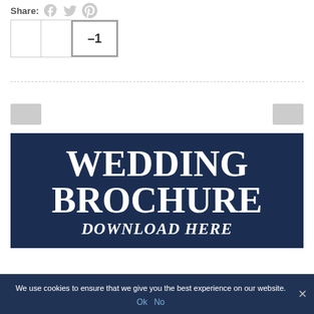Share:
[Figure (screenshot): Social share icons: Facebook, Twitter, Pinterest (gray icons)]
[Figure (screenshot): Vote/rating box with three cells, last cell showing –1 highlighted]
[Figure (screenshot): Previous navigation button (gray rectangle)]
[Figure (screenshot): Next navigation button (gray rectangle)]
[Figure (infographic): Wedding Brochure banner with dark navy background, bold white serif text reading WEDDING BROCHURE and italic DOWNLOAD HERE]
We use cookies to ensure that we give you the best experience on our website.
Ok  No